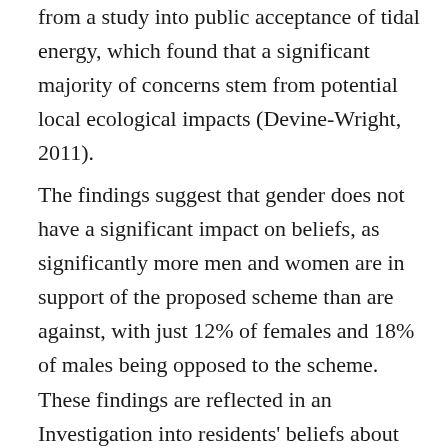from a study into public acceptance of tidal energy, which found that a significant majority of concerns stem from potential local ecological impacts (Devine-Wright, 2011).
The findings suggest that gender does not have a significant impact on beliefs, as significantly more men and women are in support of the proposed scheme than are against, with just 12% of females and 18% of males being opposed to the scheme.  These findings are reflected in an Investigation into residents' beliefs about local wind energy development, this revealed that there were no significant gender effects meaning that males and females had similar beliefs concerning the development (Devine-Wright, 2006)